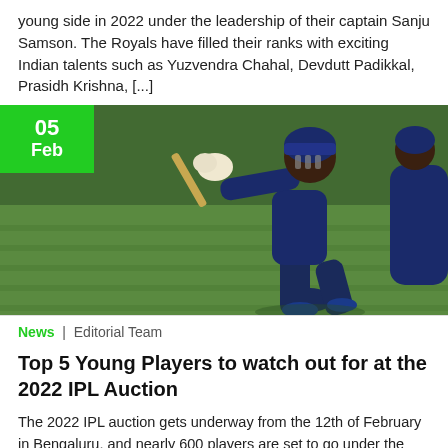young side in 2022 under the leadership of their captain Sanju Samson. The Royals have filled their ranks with exciting Indian talents such as Yuzvendra Chahal, Devdutt Padikkal, Prasidh Krishna, [...]
[Figure (photo): Cricket player in navy blue kit playing a shot, with a green date badge showing '05 Feb' in the top left corner]
News | Editorial Team
Top 5 Young Players to watch out for at the 2022 IPL Auction
The 2022 IPL auction gets underway from the 12th of February in Bengaluru, and nearly 600 players are set to go under the hammer,